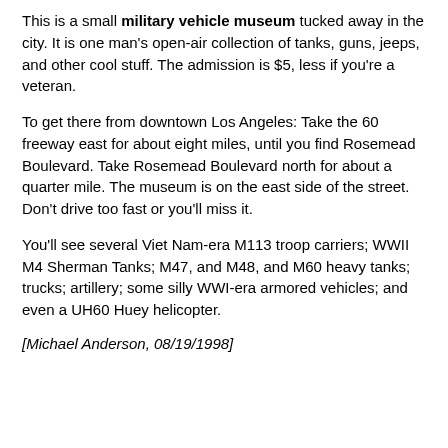This is a small military vehicle museum tucked away in the city. It is one man's open-air collection of tanks, guns, jeeps, and other cool stuff. The admission is $5, less if you're a veteran.
To get there from downtown Los Angeles: Take the 60 freeway east for about eight miles, until you find Rosemead Boulevard. Take Rosemead Boulevard north for about a quarter mile. The museum is on the east side of the street. Don't drive too fast or you'll miss it.
You'll see several Viet Nam-era M113 troop carriers; WWII M4 Sherman Tanks; M47, and M48, and M60 heavy tanks; trucks; artillery; some silly WWI-era armored vehicles; and even a UH60 Huey helicopter.
[Michael Anderson, 08/19/1998]